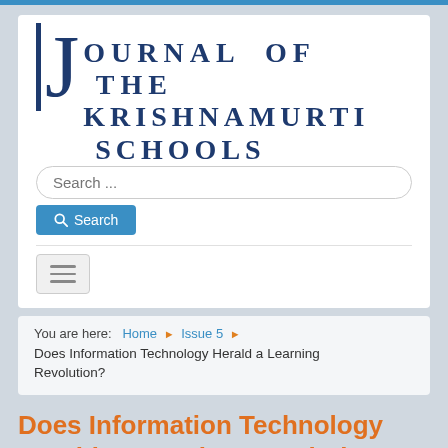Journal of the Krishnamurti Schools
Search ...
Search
You are here: Home > Issue 5 > Does Information Technology Herald a Learning Revolution?
Does Information Technology Herald a Learning Revolution?